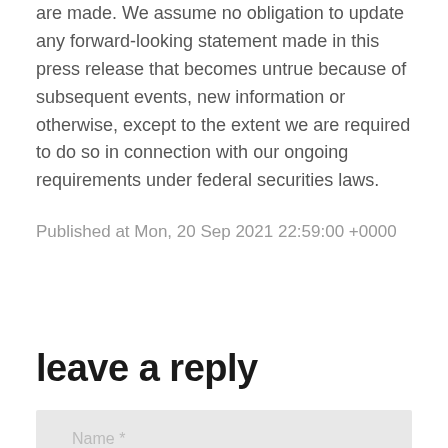are made. We assume no obligation to update any forward-looking statement made in this press release that becomes untrue because of subsequent events, new information or otherwise, except to the extent we are required to do so in connection with our ongoing requirements under federal securities laws.
Published at Mon, 20 Sep 2021 22:59:00 +0000
leave a reply